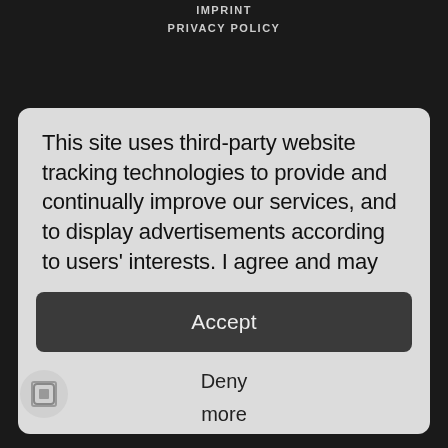IMPRINT
PRIVACY POLICY
This site uses third-party website tracking technologies to provide and continually improve our services, and to display advertisements according to users' interests. I agree and may
Accept
Deny
more
Powered by usercentrics & eRecht24